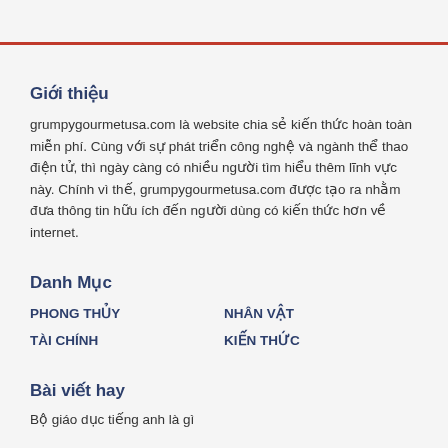Giới thiệu
grumpygourmetusa.com là website chia sẻ kiến thức hoàn toàn miễn phí. Cùng với sự phát triển công nghệ và ngành thể thao điện tử, thì ngày càng có nhiều người tìm hiểu thêm lĩnh vực này. Chính vì thế, grumpygourmetusa.com được tạo ra nhằm đưa thông tin hữu ích đến người dùng có kiến thức hơn về internet.
Danh Mục
PHONG THỦY
NHÂN VẬT
TÀI CHÍNH
KIẾN THỨC
Bài viết hay
Bộ giáo dục tiếng anh là gì